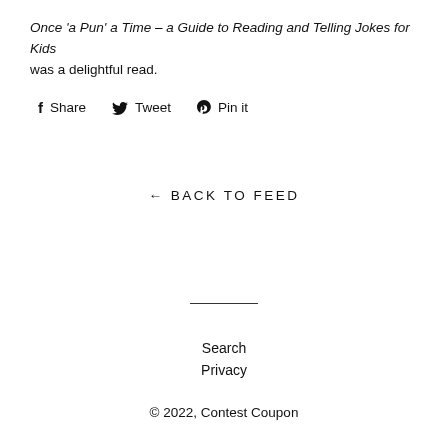Once 'a Pun' a Time – a Guide to Reading and Telling Jokes for Kids was a delightful read.
Share  Tweet  Pin it
← BACK TO FEED
Search
Privacy
© 2022, Contest Coupon